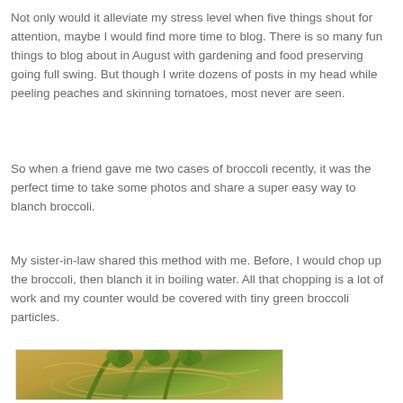Not only would it alleviate my stress level when five things shout for attention, maybe I would find more time to blog. There is so many fun things to blog about in August with gardening and food preserving going full swing. But though I write dozens of posts in my head while peeling peaches and skinning tomatoes, most never are seen.
So when a friend gave me two cases of broccoli recently, it was the perfect time to take some photos and share a super easy way to blanch broccoli.
My sister-in-law shared this method with me. Before, I would chop up the broccoli, then blanch it in boiling water. All that chopping is a lot of work and my counter would be covered with tiny green broccoli particles.
[Figure (photo): Photo of broccoli in a metal colander/sink, showing green broccoli florets with yellowish-gold tones from the metal basin]